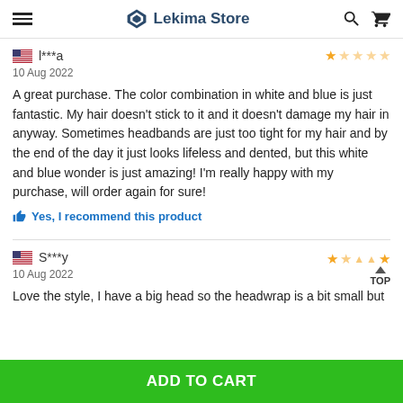Lekima Store
l***a
10 Aug 2022
A great purchase. The color combination in white and blue is just fantastic. My hair doesn't stick to it and it doesn't damage my hair in anyway. Sometimes headbands are just too tight for my hair and by the end of the day it just looks lifeless and dented, but this white and blue wonder is just amazing! I'm really happy with my purchase, will order again for sure!
Yes, I recommend this product
S***y
10 Aug 2022
Love the style, I have a big head so the headwrap is a bit small but
ADD TO CART